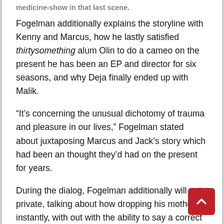medicine-show in that last scene.
Fogelman additionally explains the storyline with Kenny and Marcus, how he lastly satisfied thirtysomething alum Olin to do a cameo on the present he has been an EP and director for six seasons, and why Deja finally ended up with Malik.
“It’s concerning the unusual dichotomy of trauma and pleasure in our lives,” Fogelman stated about juxtaposing Marcus and Jack’s story which had been an thought they’d had on the present for years.
During the dialog, Fogelman additionally will get private, talking about how dropping his mother instantly, with out with the ability to say a correct goodbye, impacted writing the scene.